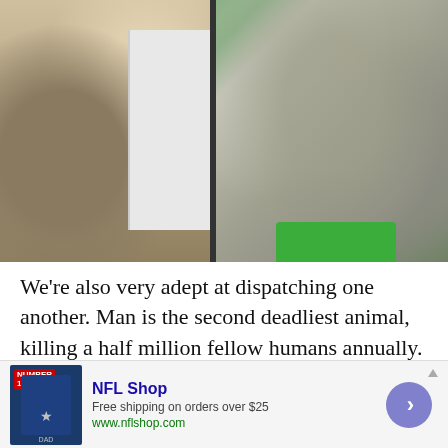[Figure (photo): Two side-by-side photos: left shows a lizard (iguana/reptile) clinging near a white cabinet/door; right shows multiple snakes or reptiles in plastic bags on a green surface, wildlife smuggling evidence photo.]
We're also very adept at dispatching one another. Man is the second deadliest animal, killing a half million fellow humans annually. Man's best friend isn't very friendly on this count, either, by the way. Dogs
[Figure (other): Advertisement banner for NFL Shop: Navy blue jersey with star logo, text 'NFL Shop', 'Free shipping on orders over $25', 'www.nflshop.com', with a purple circular arrow button on the right.]